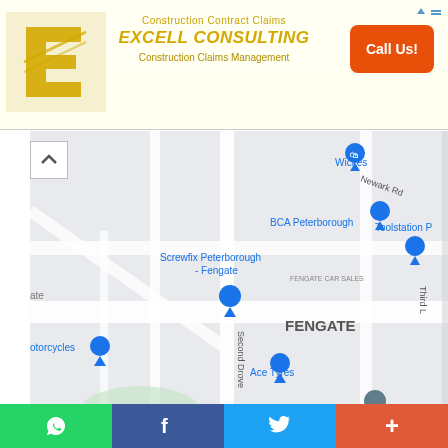[Figure (screenshot): Advertisement banner for Excell Consulting - Construction Contract Claims / Construction Claims Management with Call Us button]
[Figure (map): Google Maps view of Fengate area in Peterborough, showing BCA Peterborough, Screwfix Peterborough - Fengate, Ace Tyres, Toolstation, Wickes, and Advance locations with map pins]
FENGATE CAR SALES
Vision House, 195 Fengate, Peterborough PE1 5BH, United Kingdom
Location: (52.5712052, -0.218483)
[Figure (screenshot): Social sharing bottom bar with WhatsApp, Facebook, Twitter, and more (+) buttons]